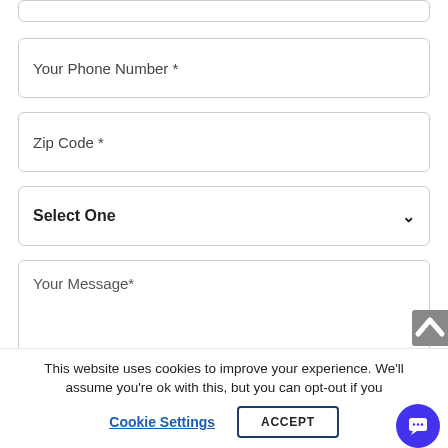[Figure (screenshot): Partial top input field border visible at top of page]
Your Phone Number *
Zip Code *
Select One
Your Message*
This website uses cookies to improve your experience. We'll assume you're ok with this, but you can opt-out if you
Cookie Settings
ACCEPT